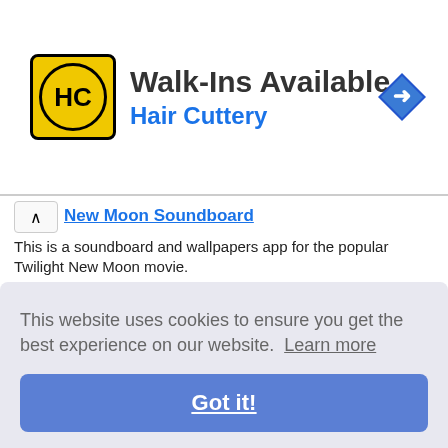[Figure (screenshot): Hair Cuttery advertisement banner with yellow logo, Walk-Ins Available text, and navigation icon]
New Moon Soundboard
This is a soundboard and wallpapers app for the popular Twilight New Moon movie.
Weird Laws US Lite
This app allows you to read strange and funny laws issued in the different USA states.
Twilight Soundboard
The app features sound clips and wallpapers related to the epic Twilight movie.
Monty [truncated]
This is [truncated]
Stewie [truncated]
This is [truncated]
Duke [truncated]
The ap[truncated] can us[truncated]
Cheech and Chong soundboard
This website uses cookies to ensure you get the best experience on our website. Learn more
Got it!